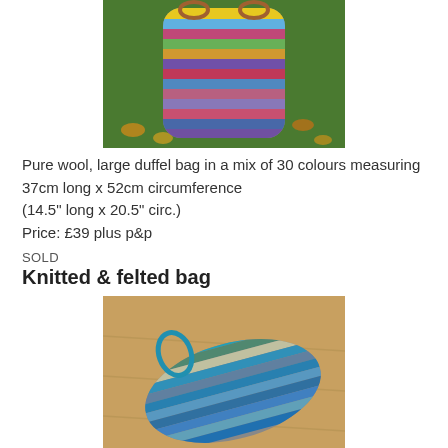[Figure (photo): Colourful striped wool duffel bag sitting on grass with autumn leaves]
Pure wool, large duffel bag in a mix of 30 colours measuring 37cm long x 52cm circumference
(14.5" long x 20.5" circ.)
Price: £39 plus p&p
SOLD
Knitted & felted bag
[Figure (photo): Teal and multicolour striped knitted and felted bag lying on a wooden floor surface]